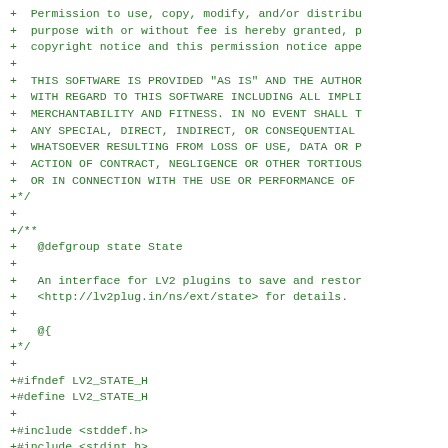+ Permission to use, copy, modify, and/or distribu
+  purpose with or without fee is hereby granted, p
+  copyright notice and this permission notice appe
+
+  THIS SOFTWARE IS PROVIDED "AS IS" AND THE AUTHOR
+  WITH REGARD TO THIS SOFTWARE INCLUDING ALL IMPLI
+  MERCHANTABILITY AND FITNESS. IN NO EVENT SHALL T
+  ANY SPECIAL, DIRECT, INDIRECT, OR CONSEQUENTIAL
+  WHATSOEVER RESULTING FROM LOSS OF USE, DATA OR P
+  ACTION OF CONTRACT, NEGLIGENCE OR OTHER TORTIOUS
+  OR IN CONNECTION WITH THE USE OR PERFORMANCE OF
+ */
+
+ /**
+    @defgroup state State
+
+    An interface for LV2 plugins to save and restor
+    <http://lv2plug.in/ns/ext/state> for details.
+
+    @{
+ */
+
+ #ifndef LV2_STATE_H
+ #define LV2_STATE_H
+
+ #include <stddef.h>
+ #include <stdint.h>
+
+ #include "lv2/core/lv2.h"
+